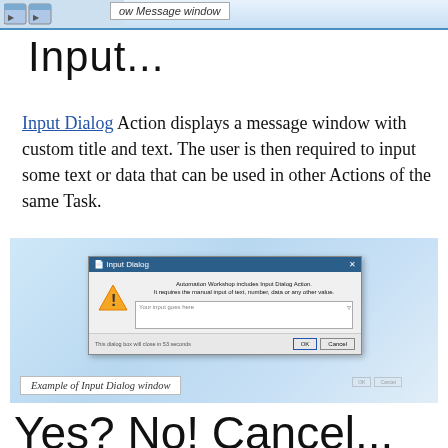ow Message window
Input...
Input Dialog Action displays a message window with custom title and text. The user is then required to input some text or data that can be used in other Actions of the same Task.
[Figure (screenshot): Screenshot of an Input Dialog window from Automation Workshop software, showing a warning icon, message text, input text area labeled 'Your input goes here', timer text 'This dialog box will close in 53 seconds', and OK/Cancel buttons.]
Example of Input Dialog window
Yes? No! Cancel...